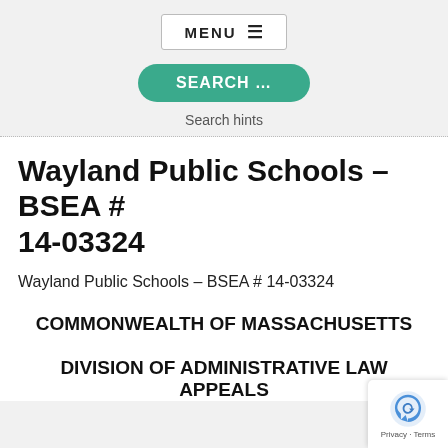[Figure (screenshot): Navigation menu button with MENU text and hamburger icon]
[Figure (screenshot): Green rounded SEARCH button]
Search hints
Wayland Public Schools – BSEA # 14-03324
Wayland Public Schools – BSEA # 14-03324
COMMONWEALTH OF MASSACHUSETTS
DIVISION OF ADMINISTRATIVE LAW APPEALS